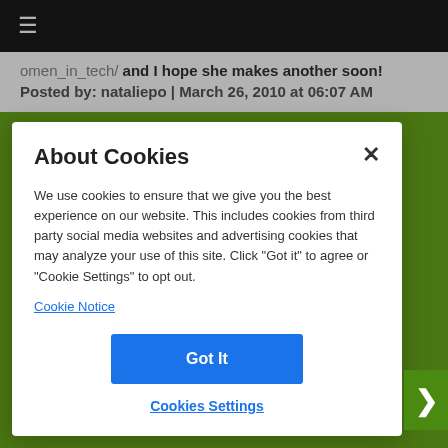≡
omen_in_tech/ and I hope she makes another soon!
Posted by: nataliepo | March 26, 2010 at 06:07 AM
About Cookies
We use cookies to ensure that we give you the best experience on our website. This includes cookies from third party social media websites and advertising cookies that may analyze your use of this site. Click "Got it" to agree or "Cookie Settings" to opt out.
Cookie Notice
Got It
Cookies Settings